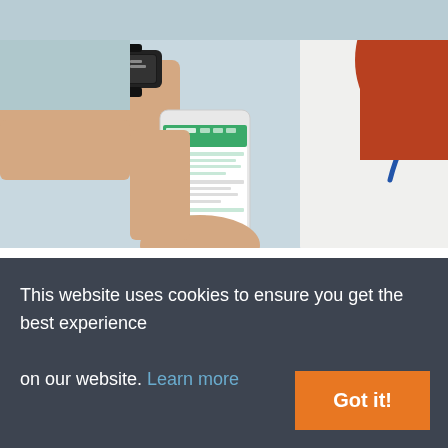[Figure (photo): A healthcare professional in a white coat with a stethoscope reviewing a smartphone, while a patient wearing a smartwatch is nearby. The image depicts digital medicine / wearable health technology context.]
In October 2019, the Digital Medicine Society (DiMe) launched its crowdsource library of digital endpoints. The library is an open resource that anyone can access. Jennifer Goldsack, CEO of DiMe, told the library...
This website uses cookies to ensure you get the best experience on our website. Learn more
Got it!